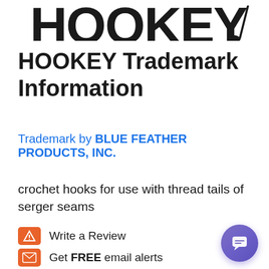[Figure (logo): Partial logo text at top of page showing stylized large bold letters cropped at top edge]
HOOKEY Trademark Information
Trademark by BLUE FEATHER PRODUCTS, INC.
crochet hooks for use with thread tails of serger seams
Write a Review
Get FREE email alerts